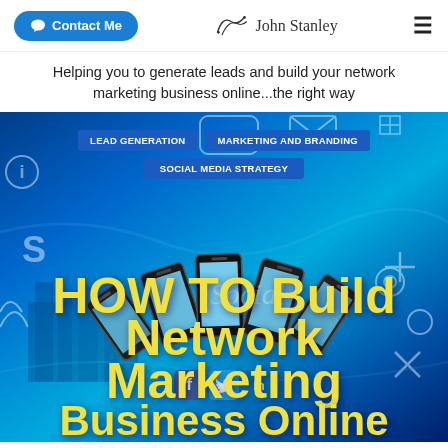Contact Me | John Stanley | menu
Helping you to generate leads and build your network marketing business online...the right way
[Figure (screenshot): Hero banner image with blue social media icon background, smartphones in center, navigation pills reading LEAD GENERATION, MARKETING AND BRANDING, SOCIAL MEDIA STRATEGY, and large yellow text reading HOW TO Build Network Marketing Business Online, with Facebook, Twitter, LinkedIn icons at bottom]